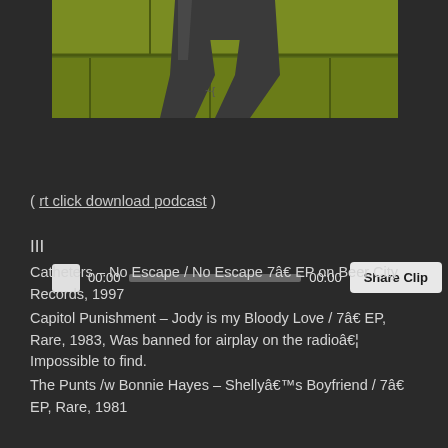[Figure (photo): A person wearing dark jeans photographed from waist down against a green/yellow painted wall background]
[Figure (screenshot): Audio player bar with play button, time display showing 00:00 on both sides, gray progress bar, and a Share Clip button]
( rt click download podcast )
III
Catheters – No Escape / No Escape 7â€ EP on Beer City Records, 1997
Capitol Punishment – Jody is my Bloody Love / 7â€ EP, Rare, 1983, Was banned for airplay on the radioâ€¦ Impossible to find.
The Punts /w Bonnie Hayes – Shellyâ€™s Boyfriend / 7â€ EP, Rare, 1981